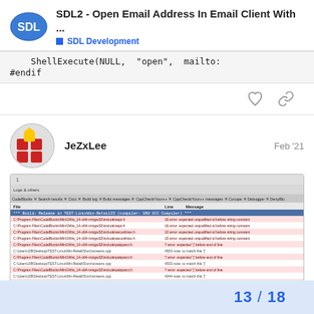SDL2 - Open Email Address In Email Client With ... | SDL Development
ShellExecute(NULL, "open", mailto...
#endif
[Figure (screenshot): Screenshot of CodeBlocks IDE showing build messages with multiple errors: expected unqualified-id before string constant, expected ] before end of line errors in SDL/mingw32 include files and screens.cpp around lines 4503-4044.]
13 / 18